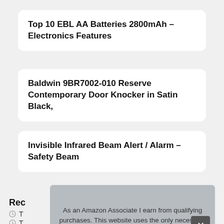Top 10 EBL AA Batteries 2800mAh – Electronics Features
Baldwin 9BR7002-010 Reserve Contemporary Door Knocker in Satin Black,
Invisible Infrared Beam Alert / Alarm – Safety Beam
Rec
T
T
Pho
As an Amazon Associate I earn from qualifying purchases. This website uses the only necessary cookies to ensure you get the best experience on our website. More information